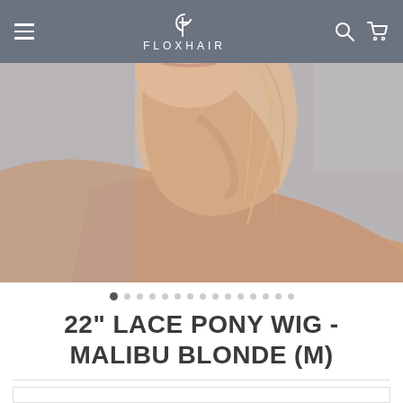FLOXHAIR
[Figure (photo): Close-up photo of a woman's neck and shoulder from behind, with blonde hair pulled up. Gray/muted background. Product model photo for a hair wig product.]
22" LACE PONY WIG - MALIBU BLONDE (M)